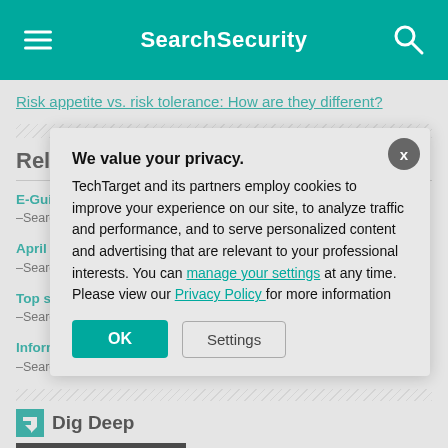SearchSecurity
Risk appetite vs. risk tolerance: How are they different?
Related Resources
E-Guide: VM in the … –SearchSecurity.com
April Essential Gui… –SearchSecurity.com
Top strategies to m… –SearchDataCenter.com
Information Securi… –SearchSecurity.com
Dig Deeper
Cybersecurity
We value your privacy. TechTarget and its partners employ cookies to improve your experience on our site, to analyze traffic and performance, and to serve personalized content and advertising that are relevant to your professional interests. You can manage your settings at any time. Please view our Privacy Policy for more information